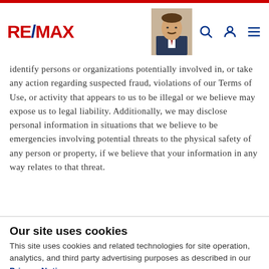RE/MAX [navigation bar with logo, agent photo, search, account, menu icons]
identify persons or organizations potentially involved in, or take any action regarding suspected fraud, violations of our Terms of Use, or activity that appears to us to be illegal or we believe may expose us to legal liability. Additionally, we may disclose personal information in situations that we believe to be emergencies involving potential threats to the physical safety of any person or property, if we believe that your information in any way relates to that threat.
Our site uses cookies
This site uses cookies and related technologies for site operation, analytics, and third party advertising purposes as described in our Privacy Notice .
ACCEPT